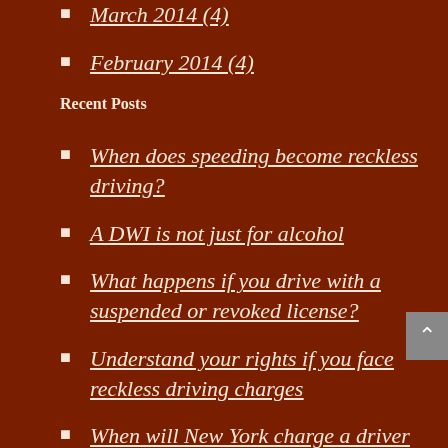March 2014 (4)
February 2014 (4)
Recent Posts
When does speeding become reckless driving?
A DWI is not just for alcohol
What happens if you drive with a suspended or revoked license?
Understand your rights if you face reckless driving charges
When will New York charge a driver with an aggravated DWI?